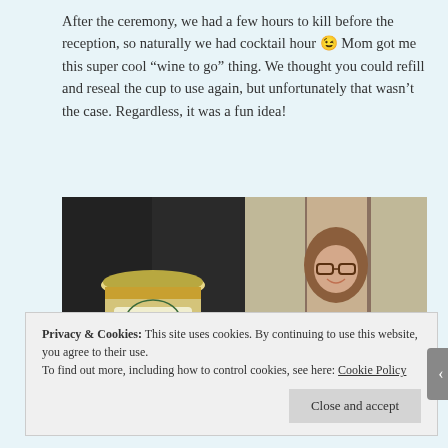After the ceremony, we had a few hours to kill before the reception, so naturally we had cocktail hour 😉 Mom got me this super cool “wine to go” thing. We thought you could refill and reseal the cup to use again, but unfortunately that wasn’t the case. Regardless, it was a fun idea!
[Figure (photo): Two side-by-side photos: left shows a Fetzer Quartz wine cup in a car cupholder; right shows a smiling woman with glasses holding a wine glass.]
Privacy & Cookies: This site uses cookies. By continuing to use this website, you agree to their use.
To find out more, including how to control cookies, see here: Cookie Policy